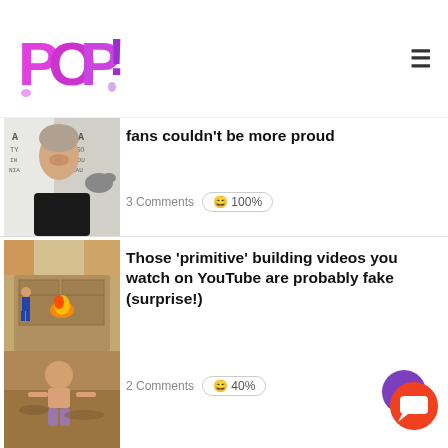[Figure (logo): POP! logo in pink/purple with exclamation mark]
[Figure (photo): Woman smiling at event with dog visible, eye chart background]
fans couldn't be more proud
3 Comments  😄 100%
[Figure (photo): Two images: person near fire pit construction outdoors; person digging in dirt]
Those 'primitive' building videos you watch on YouTube are probably fake (surprise!)
2 Comments  😄 40%
[Figure (photo): Person in dark setting, looking away from camera]
Filipino filmmaker David Olson is out to take film festivals by storm with his gripping filmography